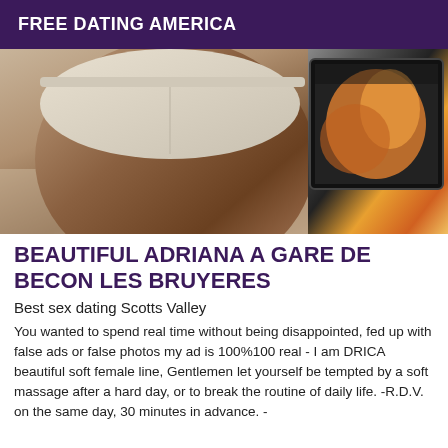FREE DATING AMERICA
[Figure (photo): A photo showing a person from behind wearing white underwear, with a TV screen visible in the background on the right side.]
BEAUTIFUL ADRIANA A GARE DE BECON LES BRUYERES
Best sex dating Scotts Valley
You wanted to spend real time without being disappointed, fed up with false ads or false photos my ad is 100%100 real - I am DRICA beautiful soft female line, Gentlemen let yourself be tempted by a soft massage after a hard day, or to break the routine of daily life. -R.D.V. on the same day, 30 minutes in advance. -